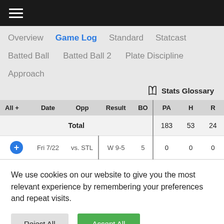Navigation menu icon (hamburger)
Overview
Game Log
Standard
Statcast
Batted Ball
Batted Ball 2
Plate Discipline
Approach
Stats Glossary
| All + | Date | Opp | Result | BO | PA | H | R |
| --- | --- | --- | --- | --- | --- | --- | --- |
| Total |  |  |  |  | 183 | 53 | 24 |
| + | Fri 7/22 | vs. STL | W 9-5 | 5 | 0 | 0 | 0 |
We use cookies on our website to give you the most relevant experience by remembering your preferences and repeat visits.
Reject All
Accept All